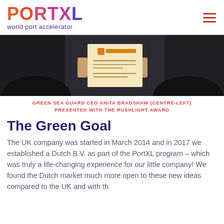PORTXL world port accelerator
[Figure (photo): Photo of people in formal attire, one holding a Rushlight award certificate]
GREEN SEA GUARD CEO ANITA BRADSHAW (CENTRE-LEFT) PRESENTED WITH THE RUSHLIGHT AWARD
The Green Goal
The UK company was started in March 2014 and in 2017 we established a Dutch B.V. as part of the PortXL program – which was truly a life-changing experience for our little company! We found the Dutch market much more open to these new ideas compared to the UK and with th…